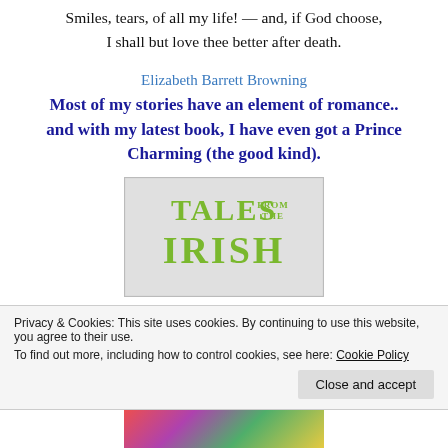Smiles, tears, of all my life! — and, if God choose,
I shall but love thee better after death.
Elizabeth Barrett Browning
Most of my stories have an element of romance.. and with my latest book, I have even got a Prince Charming (the good kind).
[Figure (illustration): Book cover for 'Tales from the Irish' with olive/green decorative text on a light grey background]
Privacy & Cookies: This site uses cookies. By continuing to use this website, you agree to their use.
To find out more, including how to control cookies, see here: Cookie Policy
Close and accept
[Figure (photo): Colorful flowers photo strip at the bottom of the page]